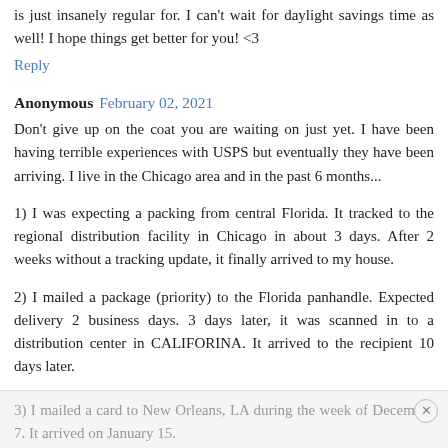is just insanely regular for. I can't wait for daylight savings time as well! I hope things get better for you! <3
Reply
Anonymous  February 02, 2021
Don't give up on the coat you are waiting on just yet. I have been having terrible experiences with USPS but eventually they have been arriving. I live in the Chicago area and in the past 6 months...
1) I was expecting a packing from central Florida. It tracked to the regional distribution facility in Chicago in about 3 days. After 2 weeks without a tracking update, it finally arrived to my house.
2) I mailed a package (priority) to the Florida panhandle. Expected delivery 2 business days. 3 days later, it was scanned in to a distribution center in CALIFORINA. It arrived to the recipient 10 days later.
3) I mailed a card to New Orleans, LA during the week of December 7. It arrived on January 15.